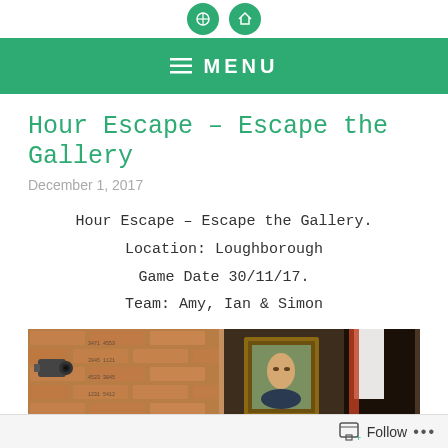MENU
Hour Escape – Escape the Gallery
December 1, 2017
Hour Escape – Escape the Gallery.
Location: Loughborough
Game Date 30/11/17.
Team: Amy, Ian & Simon
[Figure (photo): Photo collage showing an escape room with a security camera on a brick wall with numbers, a framed Mona Lisa painting, and a person.]
Follow ...